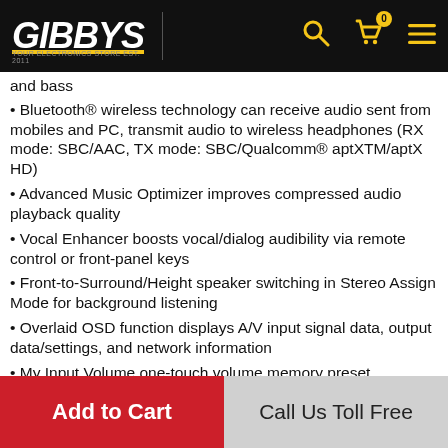[Figure (logo): GIBBYS logo in white italic bold text on black background with yellow underline, plus navigation icons (search, cart with badge 0, hamburger menu) in yellow]
and bass
Bluetooth® wireless technology can receive audio sent from mobiles and PC, transmit audio to wireless headphones (RX mode: SBC/AAC, TX mode: SBC/Qualcomm® aptXTM/aptX HD)
Advanced Music Optimizer improves compressed audio playback quality
Vocal Enhancer boosts vocal/dialog audibility via remote control or front-panel keys
Front-to-Surround/Height speaker switching in Stereo Assign Mode for background listening
Overlaid OSD function displays A/V input signal data, output data/settings, and network information
My Input Volume one-touch volume memory preset assignment to individual A/V inputs
Transmit HQ audio from compatible TVs to the A/V receiver via eARC (HDMI Main Out)
Aluminum front panel, concealment flap door, and
Add to Cart
Call Us Toll Free